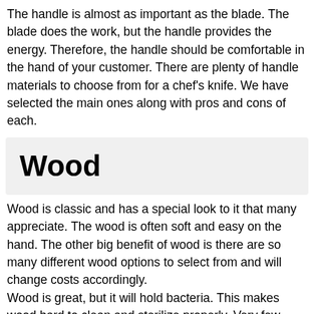The handle is almost as important as the blade.  The blade does the work, but the handle provides the energy.  Therefore, the handle should be comfortable in the hand of your customer.  There are plenty of handle materials to choose from for a chef's knife.  We have selected the main ones along with pros and cons of each.
Wood
Wood is classic and has a special look to it that many appreciate.  The wood is often soft and easy on the hand.  The other big benefit of wood is there are so many different wood options to select from and will change costs accordingly.
Wood is great, but it will hold bacteria.  This makes wood hard to clean and sterilize properly.  Very few